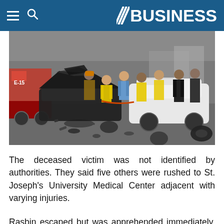BUSINESS
[Figure (photo): Car accident scene showing two severely damaged vehicles — a dark-colored car with crumpled hood and a white SUV — surrounded by emergency responders in high-visibility jackets and firefighters working at the scene. A fire truck is visible in the background on the left.]
The deceased victim was not identified by authorities. They said five others were rushed to St. Joseph's University Medical Center adjacent with varying injuries.
Rasbin escaped but was apprehended immediately, according to two men Valdes and Baycora.